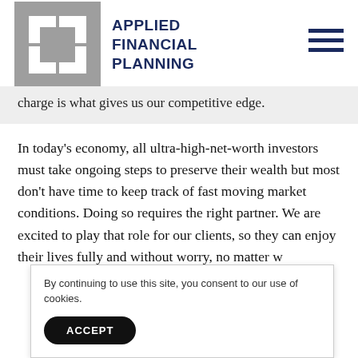[Figure (logo): Applied Financial Planning logo with gray geometric icon and dark blue text reading APPLIED FINANCIAL PLANNING]
charge is what gives us our competitive edge.
In today's economy, all ultra-high-net-worth investors must take ongoing steps to preserve their wealth but most don't have time to keep track of fast moving market conditions. Doing so requires the right partner. We are excited to play that role for our clients, so they can enjoy their lives fully and without worry, no matter w
By continuing to use this site, you consent to our use of cookies.